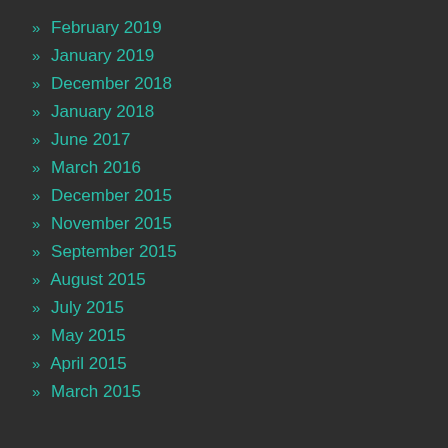» February 2019
» January 2019
» December 2018
» January 2018
» June 2017
» March 2016
» December 2015
» November 2015
» September 2015
» August 2015
» July 2015
» May 2015
» April 2015
» March 2015